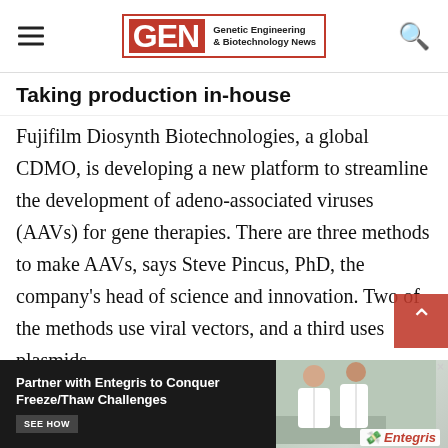GEN Genetic Engineering & Biotechnology News
Taking production in-house
Fujifilm Diosynth Biotechnologies, a global CDMO, is developing a new platform to streamline the development of adeno-associated viruses (AAVs) for gene therapies. There are three methods to make AAVs, says Steve Pincus, PhD, the company’s head of science and innovation. Two of the methods use viral vectors, and a third uses plasmids.
“People using the latter need a source of cells and plasmids,” he notes. Unfortunately, there are few licen… × s. Con… to
[Figure (infographic): Advertisement banner: Partner with Entegris to Conquer Freeze/Thaw Challenges, SEE HOW button, with photo of lab workers on right and Entegris logo]